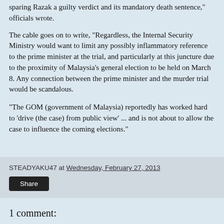sparing Razak a guilty verdict and its mandatory death sentence," officials wrote.
The cable goes on to write, "Regardless, the Internal Security Ministry would want to limit any possibly inflammatory reference to the prime minister at the trial, and particularly at this juncture due to the proximity of Malaysia's general election to be held on March 8. Any connection between the prime minister and the murder trial would be scandalous.
"The GOM (government of Malaysia) reportedly has worked hard to 'drive (the case) from public view' ... and is not about to allow the case to influence the coming elections."
STEADYAKU47 at Wednesday, February 27, 2013
1 comment: